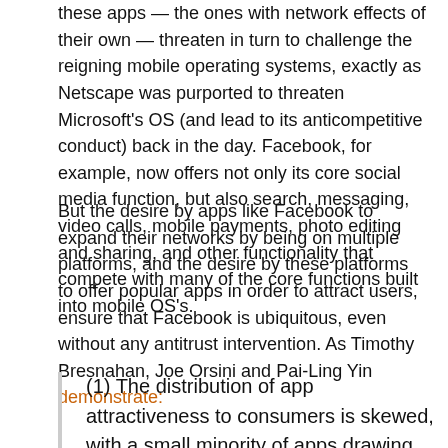these apps — the ones with network effects of their own — threaten in turn to challenge the reigning mobile operating systems, exactly as Netscape was purported to threaten Microsoft's OS (and lead to its anticompetitive conduct) back in the day. Facebook, for example, now offers not only its core social media function, but also search, messaging, video calls, mobile payments, photo editing and sharing, and other functionality that compete with many of the core functions built into mobile OS's.
But the desire by apps like Facebook to expand their networks by being on multiple platforms, and the desire by these platforms to offer popular apps in order to attract users, ensure that Facebook is ubiquitous, even without any antitrust intervention. As Timothy Bresnahan, Joe Orsini and Pai-Ling Yin demonstrate:
(1) The distribution of app attractiveness to consumers is skewed, with a small minority of apps drawing the vast majority of consumer demand. (2) Apps which are highly demanded on one platform tend also to be highly demanded on the other platform. (3) These highly demanded